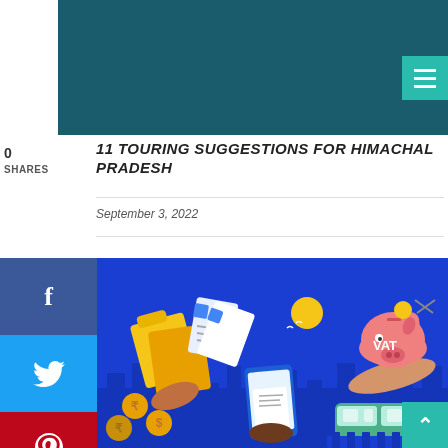[Figure (illustration): Dark teal website header banner image]
0
SHARES
11 TOURING SUGGESTIONS FOR HIMACHAL PRADESH
September 3, 2022
[Figure (illustration): Blue background illustration showing hands holding documents, folders, a mobile phone with receipt, coins, a piggy bank labeled VAT with scissors, and a green tram/train on a bridge. Finance and tax themed infographic illustration.]